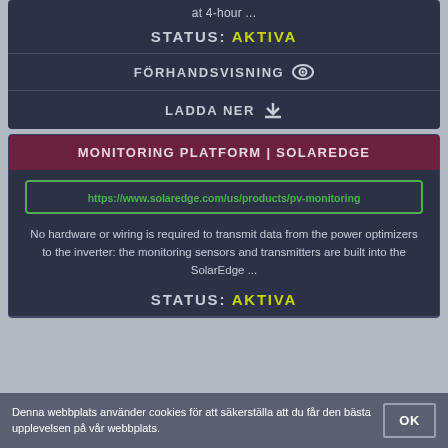at 4-hour ...
STATUS: AKTIVA
FÖRHANDSVISNING
LADDA NER
MONITORING PLATFORM | SOLAREDGE
https://www.solaredge.com/us/products/pv-monitoring
No hardware or wiring is required to transmit data from the power optimizers to the inverter: the monitoring sensors and transmitters are built into the SolarEdge ...
STATUS: AKTIVA
Denna webbplats använder cookies för att säkerställa att du får den bästa upplevelsen på vår webbplats.